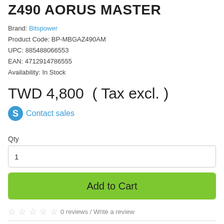Z490 AORUS MASTER
Brand: Bitspower
Product Code: BP-MBGAZ490AM
UPC: 885488066553
EAN: 4712914786555
Availability: In Stock
TWD 4,800 ( Tax excl. )
Contact sales
Qty
1
Add to Cart
0 reviews / Write a review